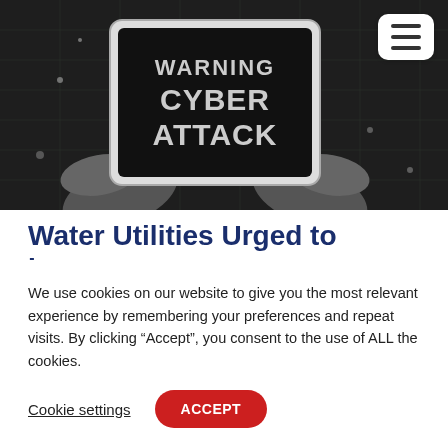[Figure (photo): Black and white photo of hands holding a tablet displaying text 'WARNING CYBER ATTACK']
Water Utilities Urged to Increase Cyber Security Now
We use cookies on our website to give you the most relevant experience by remembering your preferences and repeat visits. By clicking “Accept”, you consent to the use of ALL the cookies.
Cookie settings | ACCEPT